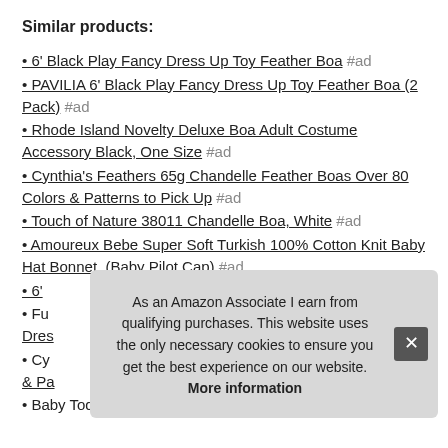Similar products:
6' Black Play Fancy Dress Up Toy Feather Boa #ad
PAVILIA 6' Black Play Fancy Dress Up Toy Feather Boa (2 Pack) #ad
Rhode Island Novelty Deluxe Boa Adult Costume Accessory Black, One Size #ad
Cynthia's Feathers 65g Chandelle Feather Boas Over 80 Colors & Patterns to Pick Up #ad
Touch of Nature 38011 Chandelle Boa, White #ad
Amoureux Bebe Super Soft Turkish 100% Cotton Knit Baby Hat Bonnet. (Baby Pilot Cap) #ad
6' ...
Fu... Dres...
Cy... & Pa...
Baby Toddler Pilot Hat Bonnet - 100% Cotton Super Soft
As an Amazon Associate I earn from qualifying purchases. This website uses the only necessary cookies to ensure you get the best experience on our website. More information